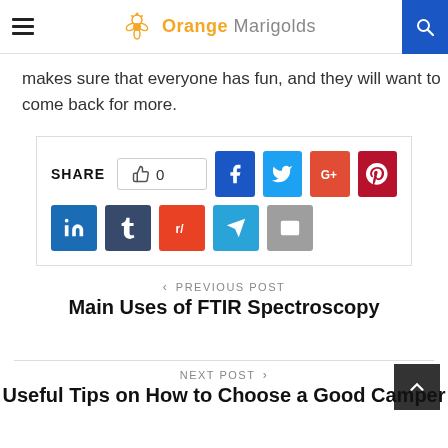Orange Marigolds
makes sure that everyone has fun, and they will want to come back for more.
[Figure (infographic): Social share bar with like button (thumbs up, count 0) and social media icons: Facebook, Twitter, Google+, Pinterest, LinkedIn, Tumblr, Reddit, Telegram, Email]
< PREVIOUS POST
Main Uses of FTIR Spectroscopy
NEXT POST >
Useful Tips on How to Choose a Good Camper